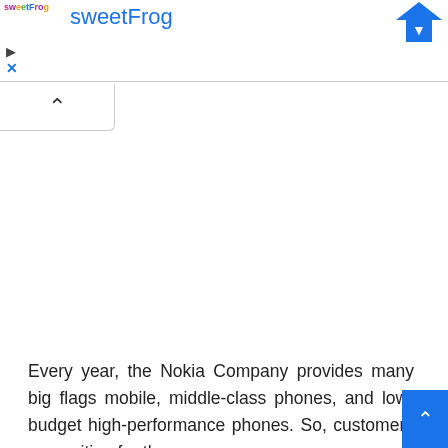sweetFrog
[Figure (logo): sweetFrog colorful logo with play and close icons, blue arrow icon top right, collapse button below]
Every year, the Nokia Company provides many big flags mobile, middle-class phones, and low-budget high-performance phones. So, customers are waiting for the new